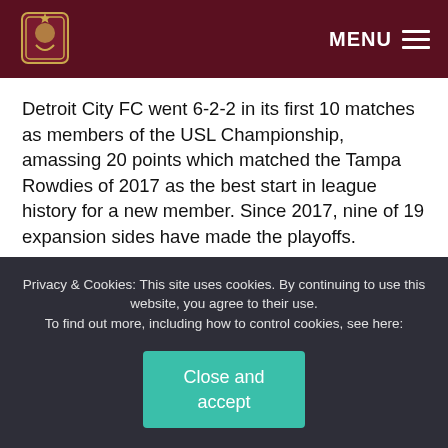MENU
Detroit City FC went 6-2-2 in its first 10 matches as members of the USL Championship, amassing 20 points which matched the Tampa Rowdies of 2017 as the best start in league history for a new member. Since 2017, nine of 19 expansion sides have made the playoffs.
DCFC strung together a nine-match unbeaten streak throughout March and April – highlighted by a 2-1 victory over the Columbus Crew in the U.S. Open Cup.
Privacy & Cookies: This site uses cookies. By continuing to use this website, you agree to their use.
To find out more, including how to control cookies, see here:
Close and accept